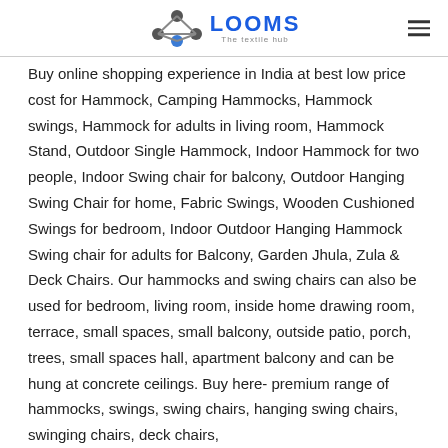LOOMS The textile hub
Buy online shopping experience in India at best low price cost for Hammock, Camping Hammocks, Hammock swings, Hammock for adults in living room, Hammock Stand, Outdoor Single Hammock, Indoor Hammock for two people, Indoor Swing chair for balcony, Outdoor Hanging Swing Chair for home, Fabric Swings, Wooden Cushioned Swings for bedroom, Indoor Outdoor Hanging Hammock Swing chair for adults for Balcony, Garden Jhula, Zula & Deck Chairs. Our hammocks and swing chairs can also be used for bedroom, living room, inside home drawing room, terrace, small spaces, small balcony, outside patio, porch, trees, small spaces hall, apartment balcony and can be hung at concrete ceilings. Buy here- premium range of hammocks, swings, swing chairs, hanging swing chairs, swinging chairs, deck chairs,